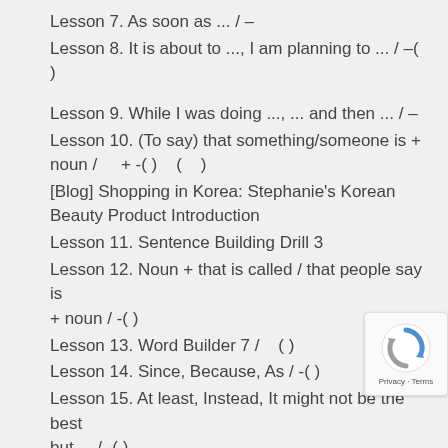Lesson 7. As soon as ... / –
Lesson 8. It is about to ..., I am planning to ... / –( )
Lesson 9. While I was doing ..., ... and then ... / –
Lesson 10. (To say) that something/someone is + noun /    + -( )   (    )
[Blog] Shopping in Korea: Stephanie's Korean Beauty Product Introduction
Lesson 11. Sentence Building Drill 3
Lesson 12. Noun + that is called / that people say is + noun / -( )
Lesson 13. Word Builder 7 /    ( )
Lesson 14. Since, Because, As / -( )
Lesson 15. At least, Instead, It might not be the best but ... / -( )
Lesson 16. Narrative Present Tense in Korean /
Lesson 17. (To say) that something/someone + verb